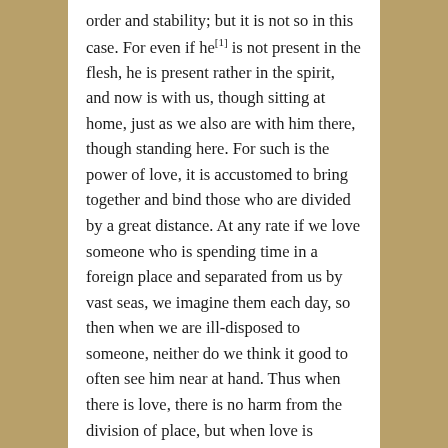order and stability; but it is not so in this case. For even if he[1] is not present in the flesh, he is present rather in the spirit, and now is with us, though sitting at home, just as we also are with him there, though standing here. For such is the power of love, it is accustomed to bring together and bind those who are divided by a great distance. At any rate if we love someone who is spending time in a foreign place and separated from us by vast seas, we imagine them each day, so then when we are ill-disposed to someone, neither do we think it good to often see him near at hand. Thus when there is love, there is no harm from the division of place, but when love is absent, there is no gain from the nearness of place. Lately, when we were praising the blessed Paul, you so were prancing about, as if seeing him present; though his body lies in regal Rome, but his soul in the hands of